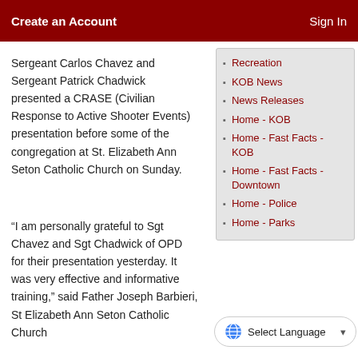Create an Account   Sign In
Sergeant Carlos Chavez and Sergeant Patrick Chadwick presented a CRASE (Civilian Response to Active Shooter Events) presentation before some of the congregation at St. Elizabeth Ann Seton Catholic Church on Sunday.
Recreation
KOB News
News Releases
Home - KOB
Home - Fast Facts - KOB
Home - Fast Facts - Downtown
Home - Police
Home - Parks
“I am personally grateful to Sgt Chavez and Sgt Chadwick of OPD for their presentation yesterday. It was very effective and informative training,” said Father Joseph Barbieri, St Elizabeth Ann Seton Catholic Church